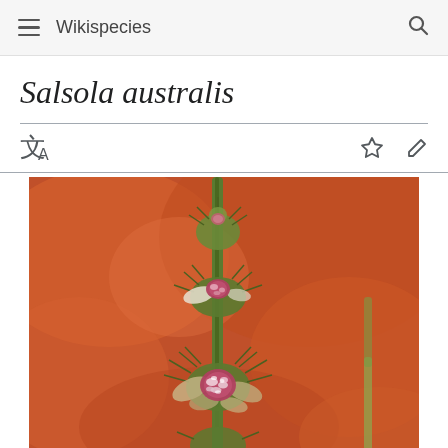Wikispecies
Salsola australis
[Figure (photo): Photograph of Salsola australis plant showing spiny stems with pink/white fluffy flowers against a blurred orange-red background]